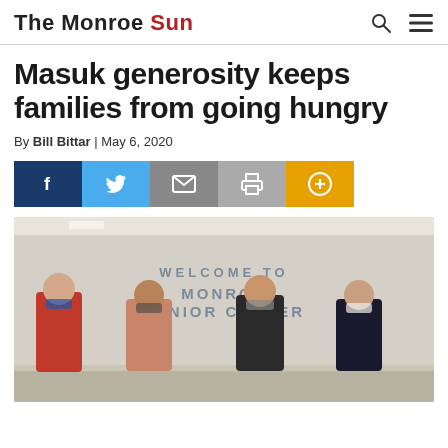The Monroe Sun
Masuk generosity keeps families from going hungry
By Bill Bittar | May 6, 2020
[Figure (other): Social sharing buttons: Facebook, Twitter, Email, Print, More (plus icon)]
[Figure (photo): Four masked students standing at the Monroe Senior Center reception counter. A 'Welcome to Monroe Senior Center' sign is visible on the wall behind them.]